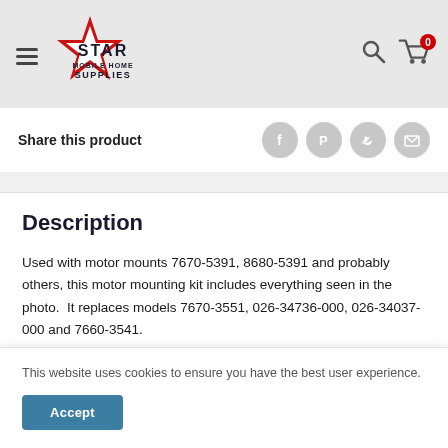Star Mobile Home Supplies
Share this product
Description
Used with motor mounts 7670-5391, 8680-5391 and probably others, this motor mounting kit includes everything seen in the photo.  It replaces models 7670-3551, 026-34736-000, 026-34037-000 and 7660-3541.
This website uses cookies to ensure you have the best user experience.